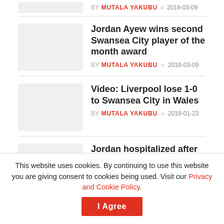BY MUTALA YAKUBU  2018-03-09
Jordan Ayew wins second Swansea City player of the month award
BY MUTALA YAKUBU  2018-03-09
Video: Liverpool lose 1-0 to Swansea City in Wales
BY MUTALA YAKUBU  2018-01-23
Jordan hospitalized after complaining of stomach upset
BY MUTALA YAKUBU  2017-09-05
This website uses cookies. By continuing to use this website you are giving consent to cookies being used. Visit our Privacy and Cookie Policy.